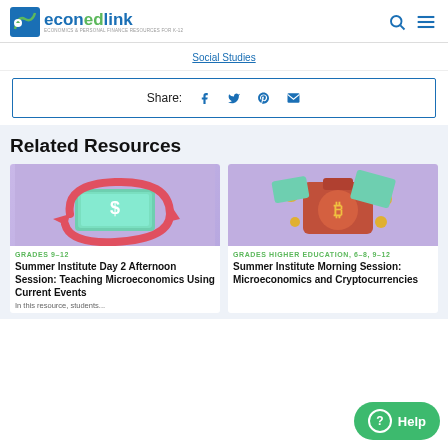econedlink
Social Studies
Share:
Related Resources
[Figure (illustration): 3D illustration of dollar bills with red arrows circling around them on a purple background]
GRADES 9-12
Summer Institute Day 2 Afternoon Session: Teaching Microeconomics Using Current Events
[Figure (illustration): 3D illustration of a red wallet with Bitcoin symbol and gold coins floating on a purple background]
GRADES HIGHER EDUCATION, 6-8, 9-12
Summer Institute Morning Session: Microeconomics and Cryptocurrencies